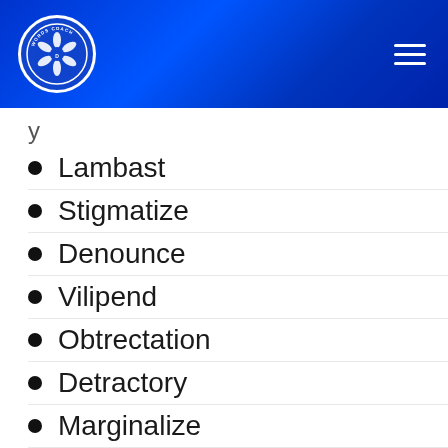[Figure (logo): Words Coach logo — circular emblem with camera aperture icon and text 'WORDS COACH' in a blue header]
Lambast
Stigmatize
Denounce
Vilipend
Obtrectation
Detractory
Marginalize
Embarrass
Mispraise